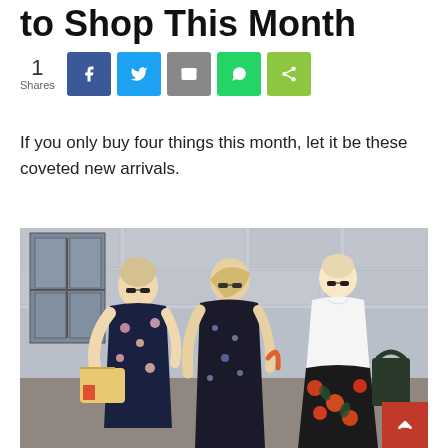to Shop This Month
[Figure (infographic): Social share bar showing 1 Share with Facebook (blue), Twitter (light blue), Email (grey), WhatsApp (green), and share (lime green) buttons]
If you only buy four things this month, let it be these coveted new arrivals.
[Figure (photo): Three women in floral and printed dresses/outfits standing outdoors against a stone wall. Left woman in navy floral maxi dress holding a colorful bag. Center woman in dark floral wrap dress. Right woman in white oversized shirt with floral skirt holding a dark tote bag. Red back-to-top button in bottom right corner.]